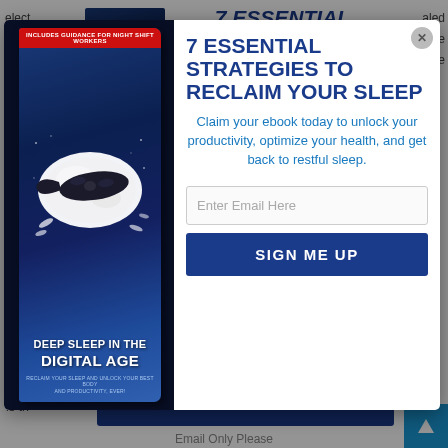[Figure (illustration): Background page with book image and heading '7 ESSENTIAL STRATEGIES TO RECLAIM YOUR SLEEP' partially visible behind modal]
7 ESSENTIAL STRATEGIES TO RECLAIM YOUR SLEEP
[Figure (illustration): Modal popup with book cover 'Deep Sleep in the Digital Age' with pillow and sleep mask illustration on dark blue background]
7 ESSENTIAL STRATEGIES TO RECLAIM YOUR SLEEP
Claim your ebook today to unlock your productivity, optimize your health, and get back to restful sleep.
Enter Email Here
SIGN ME UP
Let y
Service.
SIGN ME UP FOR EMAIL AND TEXTS
Find
natu
is th
and
Email Only Please